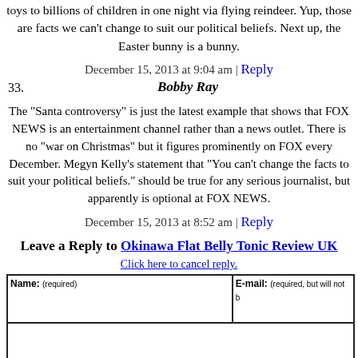toys to billions of children in one night via flying reindeer. Yup, those are facts we can't change to suit our political beliefs. Next up, the Easter bunny is a bunny.
December 15, 2013 at 9:04 am | Reply
33.
Bobby Ray
The "Santa controversy" is just the latest example that shows that FOX NEWS is an entertainment channel rather than a news outlet. There is no "war on Christmas" but it figures prominently on FOX every December. Megyn Kelly's statement that "You can't change the facts to suit your political beliefs." should be true for any serious journalist, but apparently is optional at FOX NEWS.
December 15, 2013 at 8:52 am | Reply
Leave a Reply to Okinawa Flat Belly Tonic Review UK
Click here to cancel reply.
| Name: (required) | E-mail: (required, but will not be published) |
| --- | --- |
|  |  |